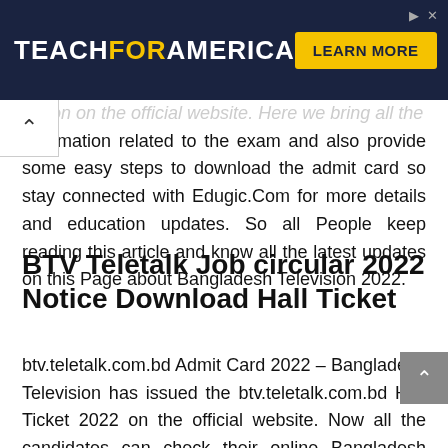[Figure (other): TeachForAmerica advertisement banner with dark navy background, logo text 'TEACHFORAMERICA' and a yellow 'LEARN MORE' button]
I soon on the official website. Here we bring all the information related to the exam and also provide some easy steps to download the admit card so stay connected with Edugic.Com for more details and education updates. So all People keep reading this article and know all the latest updates on this Page about Bangladesh Television 2022.
BTV Teletalk Job circular 2022 Notice Download Hall Ticket
btv.teletalk.com.bd Admit Card 2022 – Bangladesh Television has issued the btv.teletalk.com.bd Hall Ticket 2022 on the official website. Now all the candidates can check their online Bangladesh Television Call Letter 2022. Candidates who